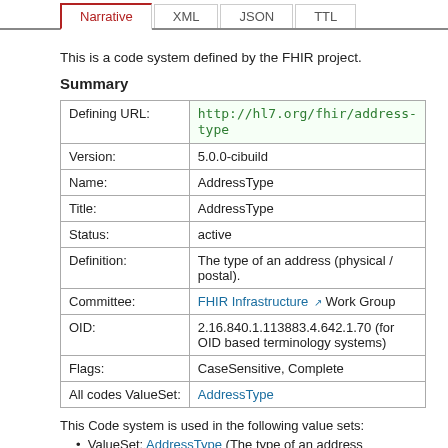Narrative | XML | JSON | TTL
This is a code system defined by the FHIR project.
Summary
|  |  |
| --- | --- |
| Defining URL: | http://hl7.org/fhir/address-type |
| Version: | 5.0.0-cibuild |
| Name: | AddressType |
| Title: | AddressType |
| Status: | active |
| Definition: | The type of an address (physical / postal). |
| Committee: | FHIR Infrastructure Work Group |
| OID: | 2.16.840.1.113883.4.642.1.70 (for OID based terminology systems) |
| Flags: | CaseSensitive, Complete |
| All codes ValueSet: | AddressType |
This Code system is used in the following value sets:
ValueSet: AddressType (The type of an address (physical / postal).)